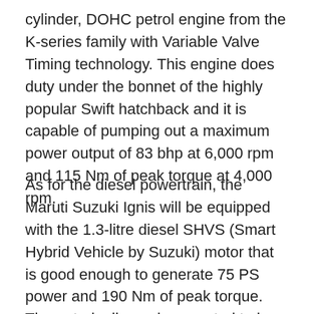cylinder, DOHC petrol engine from the K-series family with Variable Valve Timing technology. This engine does duty under the bonnet of the highly popular Swift hatchback and it is capable of pumping out a maximum power output of 83 bhp at 6,000 rpm and 115 Nm of peak torque at 4,000 rpm.
As for the diesel powertrain, the Maruti Suzuki Ignis will be equipped with the 1.3-litre diesel SHVS (Smart Hybrid Vehicle by Suzuki) motor that is good enough to generate 75 PS power and 190 Nm of peak torque. The petrol mileage is expected to be around 22 kmpl and diesel around 29 kmpl.